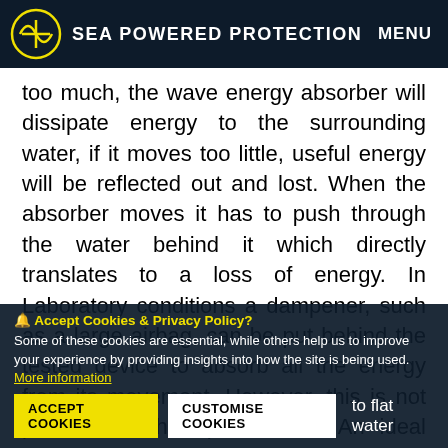SEA POWERED PROTECTION  MENU
too much, the wave energy absorber will dissipate energy to the surrounding water, if it moves too little, useful energy will be reflected out and lost. When the absorber moves it has to push through the water behind it which directly translates to a loss of energy. In Laboratory conditions a dampener, such as a large airbag, can be put behind the tested device to absorb all the energy from its movement. However, this is not possible in the open ocean. An ideal wave energy device should be shaped to minimise the energy lost through movement and reflections and its motion should be suitably damped for it to generate... Ultimately ... to flat water
Accept Cookies & Privacy Policy? Some of these cookies are essential, while others help us to improve your experience by providing insights into how the site is being used. More information
ACCEPT COOKIES   CUSTOMISE COOKIES   to flat water